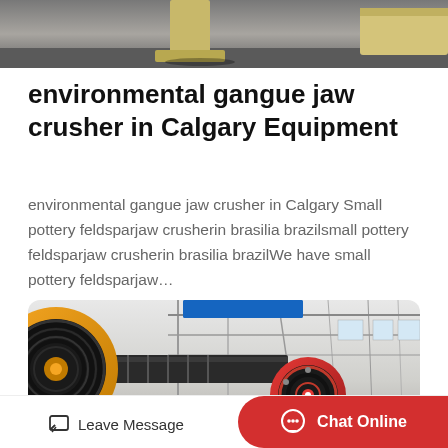[Figure (photo): Top portion of industrial jaw crusher machine on grey floor, partially cropped at top of page]
environmental gangue jaw crusher in Calgary Equipment
environmental gangue jaw crusher in Calgary Small pottery feldsparjaw crusherin brasilia brazilsmall pottery feldsparjaw crusherin brasilia brazilWe have small pottery feldsparjaw…
Read More
[Figure (photo): Industrial conveyor belt system with large orange and red wheels/rollers in a factory/plant setting with steel structure in background]
Leave Message
Chat Online